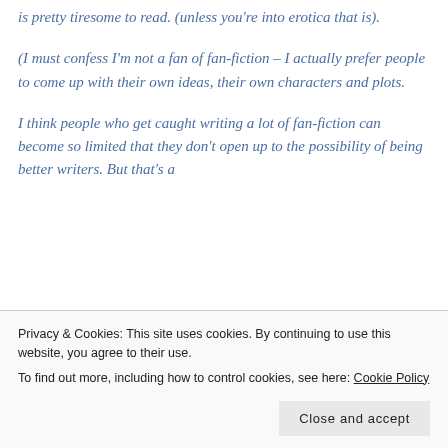is pretty tiresome to read. (unless you're into erotica that is).
(I must confess I'm not a fan of fan-fiction – I actually prefer people to come up with their own ideas, their own characters and plots.
I think people who get caught writing a lot of fan-fiction can become so limited that they don't open up to the possibility of being better writers. But that's a
Privacy & Cookies: This site uses cookies. By continuing to use this website, you agree to their use.
To find out more, including how to control cookies, see here: Cookie Policy